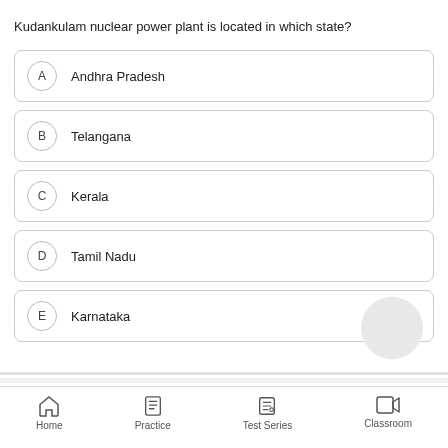Kudankulam nuclear power plant is located in which state?
A   Andhra Pradesh
B   Telangana
C   Kerala
D   Tamil Nadu
E   Karnataka
Home   Practice   Test Series   Classroom